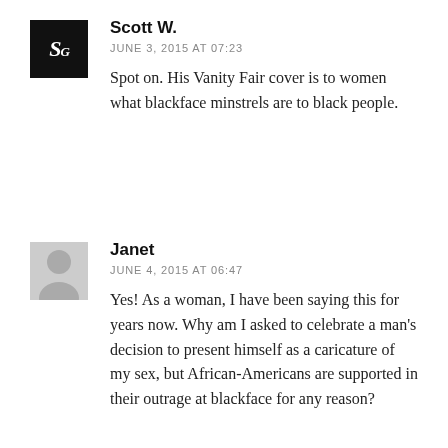[partial text from previous comment]
Scott W.
JUNE 3, 2015 AT 07:23
Spot on. His Vanity Fair cover is to women what blackface minstrels are to black people.
Janet
JUNE 4, 2015 AT 06:47
Yes! As a woman, I have been saying this for years now. Why am I asked to celebrate a man's decision to present himself as a caricature of my sex, but African-Americans are supported in their outrage at blackface for any reason?